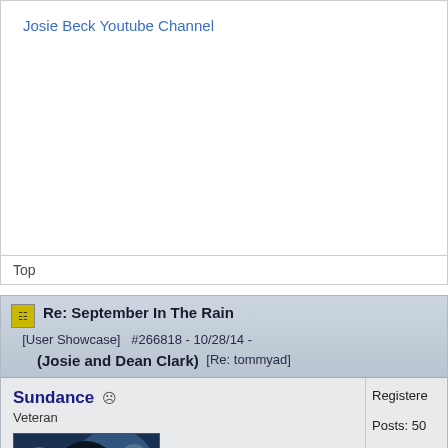Josie Beck Youtube Channel
Top
Re: September In The Rain (Josie and Dean Clark) [User Showcase] #266818 - 10/28/14 [Re: tommyad]
Sundance
Veteran
Registered: Posts: 50 Loc: Gulf
[Figure (photo): Avatar photo of a person with long dark hair, smiling, with blue-tinted lighting background]
Thank you Tommy.

I really appreciate that.